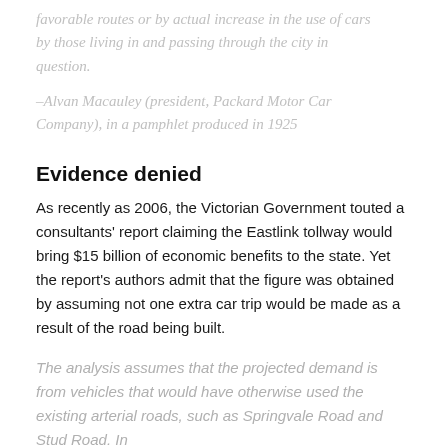favorable routes or by actual increase in the use of cars by those living in and passing through the city in question.
–Alvan Macauley (president, Packard Motor Car Company), in a pamphlet produced in 1925
Evidence denied
As recently as 2006, the Victorian Government touted a consultants' report claiming the Eastlink tollway would bring $15 billion of economic benefits to the state. Yet the report's authors admit that the figure was obtained by assuming not one extra car trip would be made as a result of the road being built.
The analysis assumes that the projected demand is from vehicles that would have otherwise used the existing arterial roads, such as Springvale Road and Stud Road. In